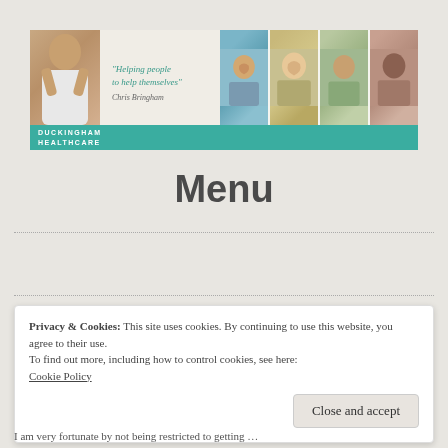[Figure (logo): Duckingham Healthcare banner with tagline 'Helping people to help themselves', signature, and photos of smiling people]
Menu
Privacy & Cookies: This site uses cookies. By continuing to use this website, you agree to their use.
To find out more, including how to control cookies, see here:
Cookie Policy
Close and accept
I am very fortunate by not being restricted to getting